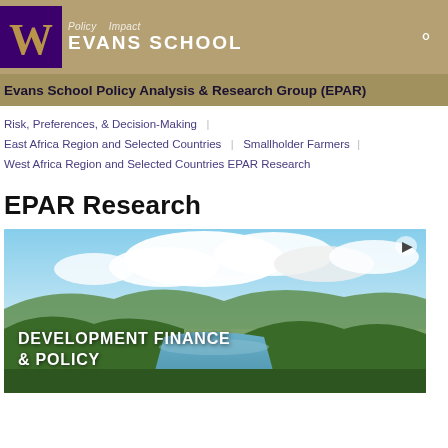Policy Impact | Evans School
Evans School Policy Analysis & Research Group (EPAR)
Risk, Preferences, & Decision-Making
East Africa Region and Selected Countries | Smallholder Farmers
West Africa Region and Selected Countries EPAR Research
EPAR Research
[Figure (photo): Landscape photo with green hills, a river or lake, and cloudy sky. Overlay text reads: DEVELOPMENT FINANCE & POLICY]